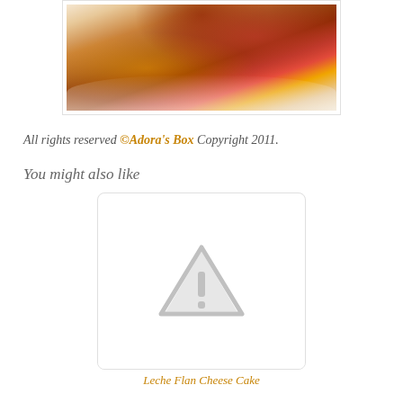[Figure (photo): Partial top view of a dessert (flan or similar) with caramel sauce and fruit toppings on a white plate, cropped at the top of the page]
All rights reserved ©Adora's Box Copyright 2011.
You might also like
[Figure (photo): Broken/missing image placeholder showing a gray triangle with exclamation mark icon on a white/light gray card background]
Leche Flan Cheese Cake